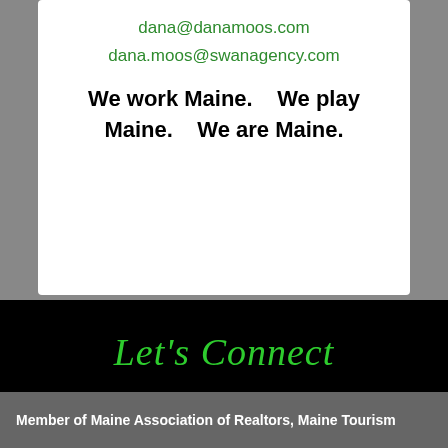dana@danamoos.com
dana.moos@swanagency.com
We work Maine.   We play Maine.   We are Maine.
Let's Connect
[Figure (other): Four social media icons: Facebook, Instagram, LinkedIn, Facebook]
Member of Maine Association of Realtors, Maine Tourism